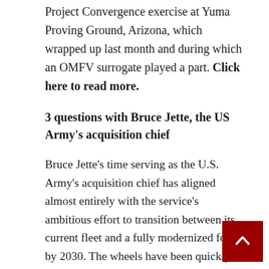Project Convergence exercise at Yuma Proving Ground, Arizona, which wrapped up last month and during which an OMFV surrogate played a part. Click here to read more.
3 questions with Bruce Jette, the US Army's acquisition chief
Bruce Jette's time serving as the U.S. Army's acquisition chief has aligned almost entirely with the service's ambitious effort to transition between its current fleet and a fully modernized force by 2030. The wheels have been quickly turning to field new capabilities, and it has kept Jette busy working to strike a balance between the service's present needs and its future requirements.
Defense News spoke with Jette ahead of the Association of the U.S. Army's annual conference, which will be held